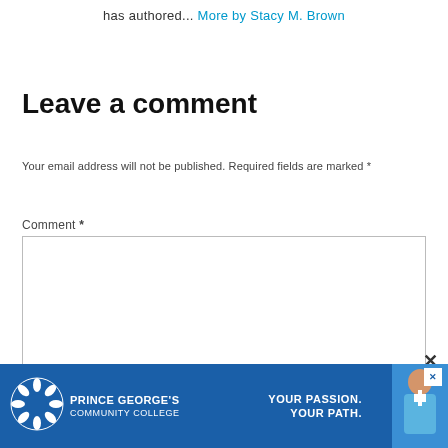has authored... More by Stacy M. Brown
Leave a comment
Your email address will not be published. Required fields are marked *
Comment *
[Figure (screenshot): Empty comment text area input box]
[Figure (infographic): Prince George's Community College advertisement banner — blue background with college logo, nurse photo, text: YOUR PASSION. YOUR PATH.]